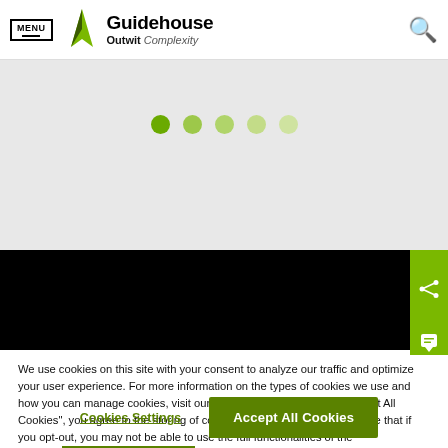MENU | Guidehouse Outwit Complexity | Search
[Figure (screenshot): Slider navigation dots — 5 dots in varying shades of green, first dot darkest (active)]
[Figure (screenshot): Black banner with green share and chat icons on right side panel]
We use cookies on this site with your consent to analyze our traffic and optimize your user experience. For more information on the types of cookies we use and how you can manage cookies, visit our Cookie Policy. By clicking "Accept All Cookies", you agree to the storing of cookies on your device. Please note that if you opt-out, you may not be able to use the full functionalities of the website. Read our cookie policy.
Cookies Settings | Accept All Cookies